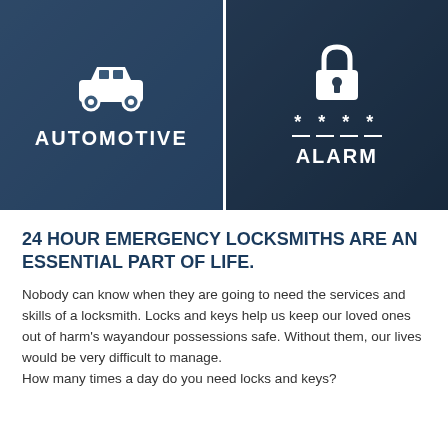[Figure (infographic): Two side-by-side panels. Left panel: dark blue background with a car icon (white) above the text AUTOMOTIVE. Right panel: darker blue background with a padlock and keypad icon (white) with asterisks above the text ALARM.]
24 HOUR EMERGENCY LOCKSMITHS ARE AN ESSENTIAL PART OF LIFE.
Nobody can know when they are going to need the services and skills of a locksmith. Locks and keys help us keep our loved ones out of harm's wayandour possessions safe. Without them, our lives would be very difficult to manage.
How many times a day do you need locks and keys?